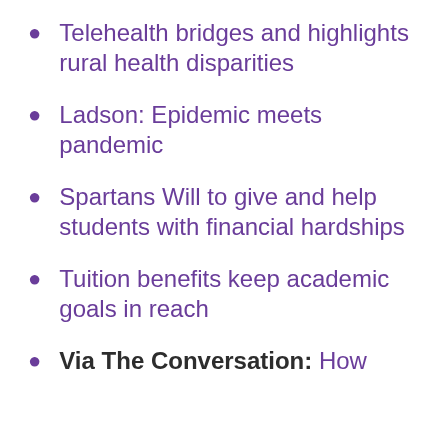Telehealth bridges and highlights rural health disparities
Ladson: Epidemic meets pandemic
Spartans Will to give and help students with financial hardships
Tuition benefits keep academic goals in reach
Via The Conversation: How